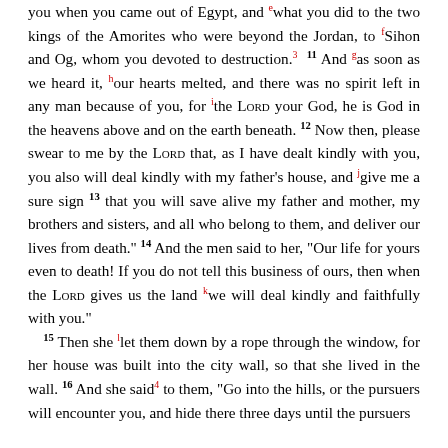you when you came out of Egypt, and what you did to the two kings of the Amorites who were beyond the Jordan, to Sihon and Og, whom you devoted to destruction.3 11 And as soon as we heard it, our hearts melted, and there was no spirit left in any man because of you, for the LORD your God, he is God in the heavens above and on the earth beneath. 12 Now then, please swear to me by the LORD that, as I have dealt kindly with you, you also will deal kindly with my father's house, and give me a sure sign 13 that you will save alive my father and mother, my brothers and sisters, and all who belong to them, and deliver our lives from death." 14 And the men said to her, "Our life for yours even to death! If you do not tell this business of ours, then when the LORD gives us the land we will deal kindly and faithfully with you." 15 Then she let them down by a rope through the window, for her house was built into the city wall, so that she lived in the wall. 16 And she said4 to them, "Go into the hills, or the pursuers will encounter you, and hide there three days until the pursuers